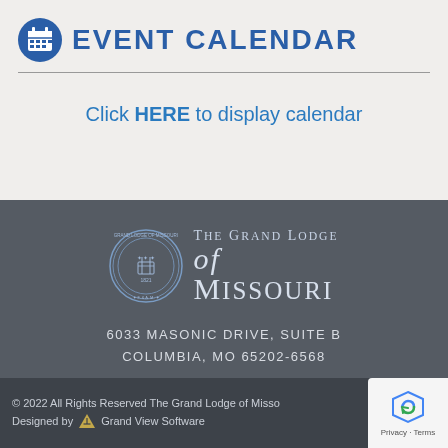EVENT CALENDAR
Click HERE to display calendar
[Figure (logo): The Grand Lodge of Missouri seal and logo with circular emblem on left and organization name on right]
6033 MASONIC DRIVE, SUITE B
COLUMBIA, MO 65202-6568
PHONE: 573-474-8561
© 2022 All Rights Reserved The Grand Lodge of Missouri | Designed by Grand View Software